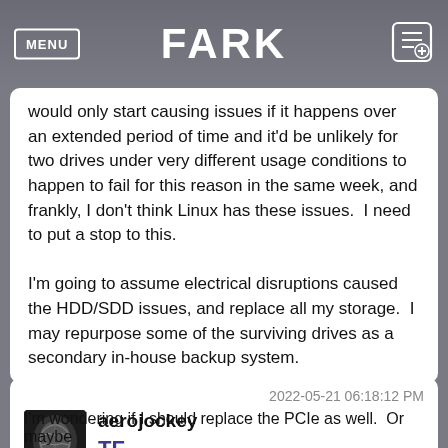MENU | FARK
would only start causing issues if it happens over an extended period of time and it'd be unlikely for two drives under very different usage conditions to happen to fail for this reason in the same week, and frankly, I don't think Linux has these issues.  I need to put a stop to this.

I'm going to assume electrical disruptions caused the HDD/SDD issues, and replace all my storage.  I may repurpose some of the surviving drives as a secondary in-house backup system.

Thanks all for any knowledge shared.
2022-05-21 06:18:12 PM
aerojockey
TF
I'm wondering if I should replace the PCIe as well.  Or maybe